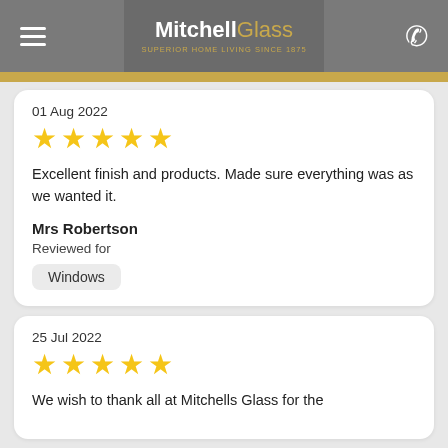Mitchell Glass — Superior Home Living Since 1875
01 Aug 2022
★★★★★ (5 stars)
Excellent finish and products. Made sure everything was as we wanted it.
Mrs Robertson
Reviewed for
Windows
25 Jul 2022
★★★★★ (5 stars)
We wish to thank all at Mitchells Glass for the